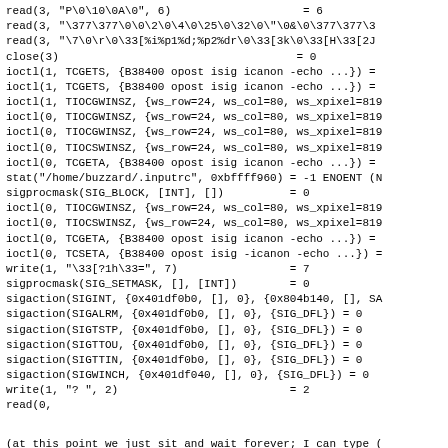read(3, "P\0\10\0A\0", 6)                    = 6
read(3, "\377\377\0\0\2\0\4\0\25\0\32\0\"\0&\0\377\377\3
read(3, "\7\0\r\0\33[%i%p1%d;%p2%dr\0\33[3k\0\33[H\33[2J
close(3)                                    = 0
ioctl(1, TCGETS, {B38400 opost isig icanon -echo ...}) =
ioctl(1, TCGETS, {B38400 opost isig icanon -echo ...}) =
ioctl(1, TIOCGWINSZ, {ws_row=24, ws_col=80, ws_xpixel=819
ioctl(0, TIOCGWINSZ, {ws_row=24, ws_col=80, ws_xpixel=819
ioctl(0, TIOCGWINSZ, {ws_row=24, ws_col=80, ws_xpixel=819
ioctl(0, TIOCSWINSZ, {ws_row=24, ws_col=80, ws_xpixel=819
ioctl(0, TCGETA, {B38400 opost isig icanon -echo ...}) =
stat("/home/buzzard/.inputrc", 0xbffff960) = -1 ENOENT (N
sigprocmask(SIG_BLOCK, [INT], [])          = 0
ioctl(0, TIOCGWINSZ, {ws_row=24, ws_col=80, ws_xpixel=819
ioctl(0, TIOCSWINSZ, {ws_row=24, ws_col=80, ws_xpixel=819
ioctl(0, TCGETA, {B38400 opost isig icanon -echo ...}) =
ioctl(0, TCSETA, {B38400 opost isig -icanon -echo ...}) =
write(1, "\33[?1h\33=", 7)                 = 7
sigprocmask(SIG_SETMASK, [], [INT])        = 0
sigaction(SIGINT, {0x401df0b0, [], 0}, {0x804b140, [], SA
sigaction(SIGALRM, {0x401df0b0, [], 0}, {SIG_DFL}) = 0
sigaction(SIGTSTP, {0x401df0b0, [], 0}, {SIG_DFL}) = 0
sigaction(SIGTTOU, {0x401df0b0, [], 0}, {SIG_DFL}) = 0
sigaction(SIGTTIN, {0x401df0b0, [], 0}, {SIG_DFL}) = 0
sigaction(SIGWINCH, {0x401df040, [], 0}, {SIG_DFL}) = 0
write(1, "? ", 2)                          = 2
read(0,
(at this point we just sit and wait forever; I can type (
of the loop, and I got a corrupted gn session in my emacs